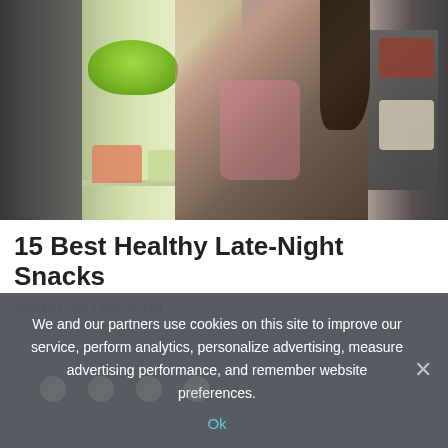[Figure (photo): A woman in a plaid shirt looking into an open refrigerator at night, with lettuce and other food visible inside.]
15 Best Healthy Late-Night Snacks
alldelish.com | Sponsored
We and our partners use cookies on this site to improve our service, perform analytics, personalize advertising, measure advertising performance, and remember website preferences.
Ok